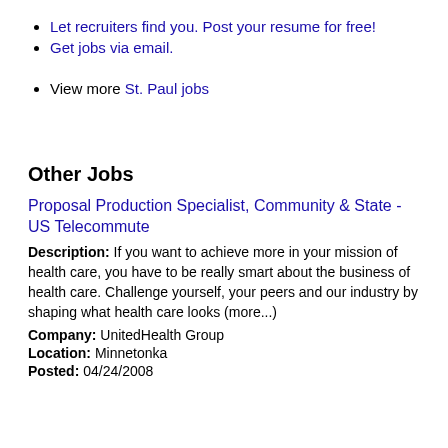Let recruiters find you. Post your resume for free!
Get jobs via email.
View more St. Paul jobs
Other Jobs
Proposal Production Specialist, Community & State - US Telecommute
Description: If you want to achieve more in your mission of health care, you have to be really smart about the business of health care. Challenge yourself, your peers and our industry by shaping what health care looks (more...)
Company: UnitedHealth Group
Location: Minnetonka
Posted: ...